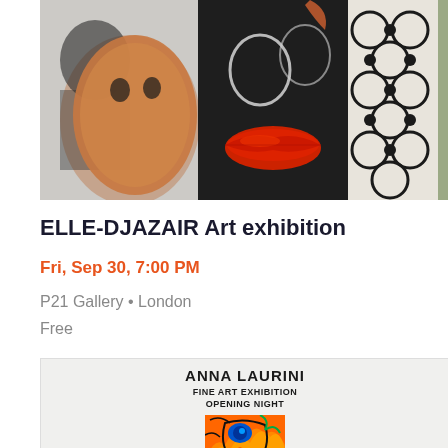[Figure (photo): Art exhibition photo showing mixed media artwork with stenciled faces, a distinctive red lips sculpture element, geometric lattice pattern, and brown circular form against black and white background]
ELLE-DJAZAIR Art exhibition
Fri, Sep 30, 7:00 PM
P21 Gallery • London
Free
[Figure (photo): Anna Laurini Fine Art Exhibition Opening Night promotional card with colorful abstract face artwork in orange, red, blue and green psychedelic style]